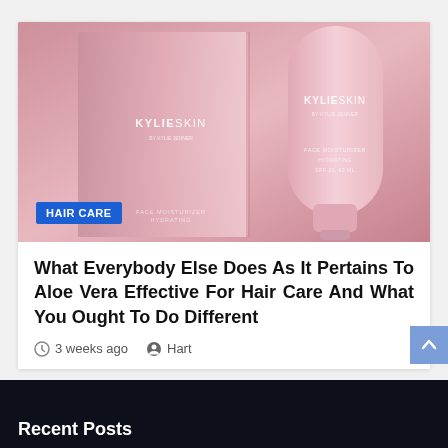[Figure (photo): Kylie Skin product photo showing pink skincare packaging boxes and a tube against a pink background, with a blue 'HAIR CARE' badge overlay in the lower left]
What Everybody Else Does As It Pertains To Aloe Vera Effective For Hair Care And What You Ought To Do Different
3 weeks ago  Hart
Recent Posts